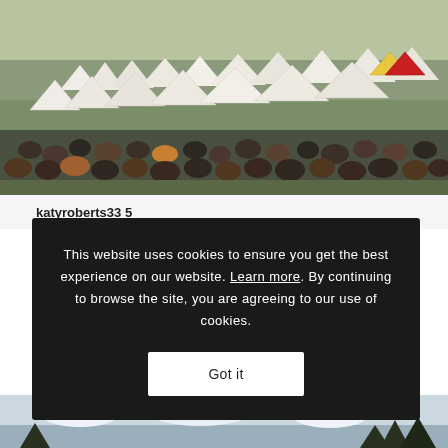[Figure (photo): Outdoor festival or gathering scene with many white tents on a hillside and a crowd of people seated on a grassy slope watching something below]
katyroberts33 5
This website uses cookies to ensure you get the best experience on our website. Learn more. By continuing to browse the site, you are agreeing to our use of cookies.
Got it
[Figure (photo): Partial view of an outdoor scene with sky, clouds, and trees visible at bottom of page]